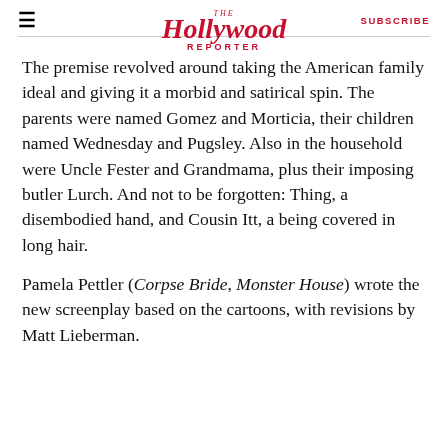The Hollywood Reporter | SUBSCRIBE
The premise revolved around taking the American family ideal and giving it a morbid and satirical spin. The parents were named Gomez and Morticia, their children named Wednesday and Pugsley. Also in the household were Uncle Fester and Grandmama, plus their imposing butler Lurch. And not to be forgotten: Thing, a disembodied hand, and Cousin Itt, a being covered in long hair.
Pamela Pettler (Corpse Bride, Monster House) wrote the new screenplay based on the cartoons, with revisions by Matt Lieberman.